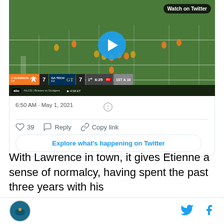[Figure (screenshot): Twitter embedded video player showing a Clemson vs GA Tech football game. Score: 1 Clemson 7, GA Tech 7. 1st quarter, 6:25 remaining, 1st & 10. 'Watch on Twitter' badge visible. Play button in center.]
6:50 AM · May 1, 2021
39  Reply  Copy link
Explore what's happening on Twitter
With Lawrence in town, it gives Etienne a sense of normalcy, having spent the past three years with his
[Figure (logo): Circular site logo with teal/dark blue background and bird/feather graphic]
[Figure (logo): Twitter bird icon in teal blue]
[Figure (logo): Facebook 'f' icon in teal blue]